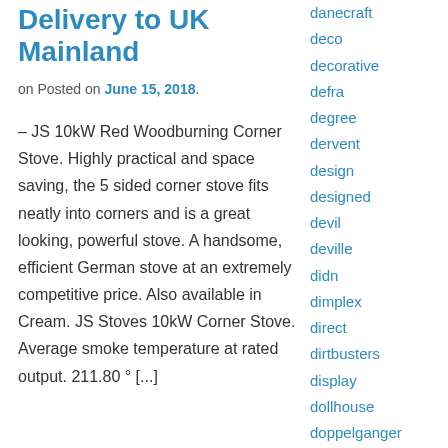Delivery to UK Mainland
on Posted on June 15, 2018.
– JS 10kW Red Woodburning Corner Stove. Highly practical and space saving, the 5 sided corner stove fits neatly into corners and is a great looking, powerful stove. A handsome, efficient German stove at an extremely competitive price. Also available in Cream. JS Stoves 10kW Corner Stove. Average smoke temperature at rated output. 211.80 ° [...]
danecraft
deco
decorative
defra
degree
dervent
design
designed
devil
deville
didn
dimplex
direct
dirtbusters
display
dollhouse
doppelganger
double
double-view
dovre